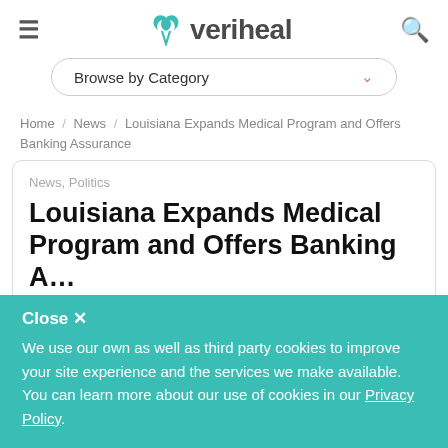≡  veriheal  🔍
Browse by Category
Home / News / Louisiana Expands Medical Program and Offers Banking Assurance
News, Politics
Louisiana Expands Medical Program and Offers Banking A…
Close ✕  We use our own as well as third party cookies to improve your site experience and the services we make available. You can learn more about our use of cookies in our Privacy Policy.